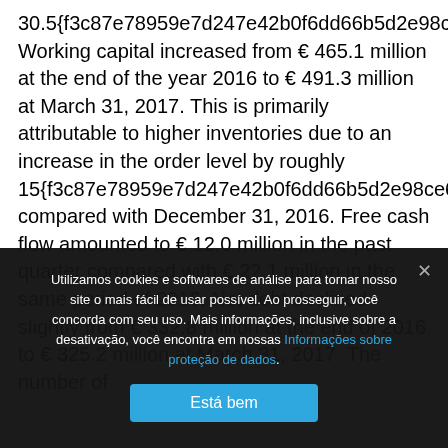30.5{f3c87e78959e7d247e42b0f6dd66b5d2e98ce6bad6b0a Working capital increased from € 465.1 million at the end of the year 2016 to € 491.3 million at March 31, 2017. This is primarily attributable to higher inventories due to an increase in the order level by roughly 15{f3c87e78959e7d247e42b0f6dd66b5d2e98ce6bad6b0a7c compared with December 31, 2016. Free cash flow amounted to € 12.0 million in the past quarter compared with € 22.1 million in the same period of 2016. Net debt declined slightly from € 332.8 million at the end of 2016 to € 325.2 million at March 31, 2017. The number of
Utilizamos cookies e softwares de análise para tornar nosso site o mais fácil de usar possível. Ao prosseguir, você concorda com seu uso. Mais informações, inclusive sobre a desativação, você encontra em nossas Informações sobre proteção de dados.